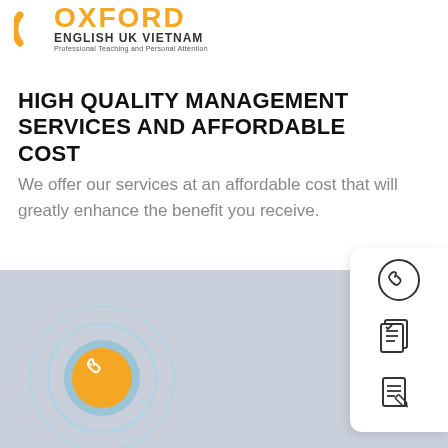[Figure (logo): Oxford English UK Vietnam logo with orange arc/circle graphic, bold OXFORD text in orange, ENGLISH UK VIETNAM in dark bold, tagline Professional Teaching and Personal Attention]
HIGH QUALITY MANAGEMENT SERVICES AND AFFORDABLE COST
We offer our services at an affordable cost that will greatly enhance the benefit you receive.
[Figure (illustration): Light blue-gray background area with a phone button: orange circle with white phone icon, surrounded by two concentric light blue circles (ripple effect)]
[Figure (illustration): White floating panel on right side with three icons: a phone/call icon, a checklist/document icon, and an edit/document icon]